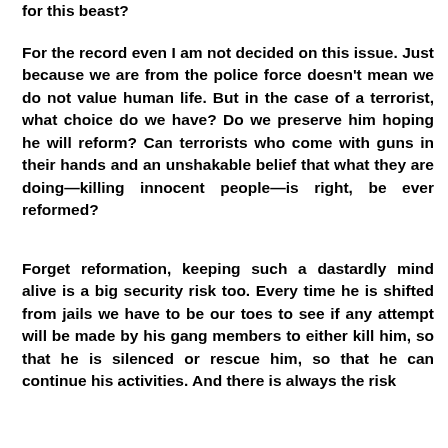for this beast?
For the record even I am not decided on this issue. Just because we are from the police force doesn't mean we do not value human life. But in the case of a terrorist, what choice do we have? Do we preserve him hoping he will reform? Can terrorists who come with guns in their hands and an unshakable belief that what they are doing—killing innocent people—is right, be ever reformed?
Forget reformation, keeping such a dastardly mind alive is a big security risk too. Every time he is shifted from jails we have to be our toes to see if any attempt will be made by his gang members to either kill him, so that he is silenced or rescue him, so that he can continue his activities. And there is always the risk